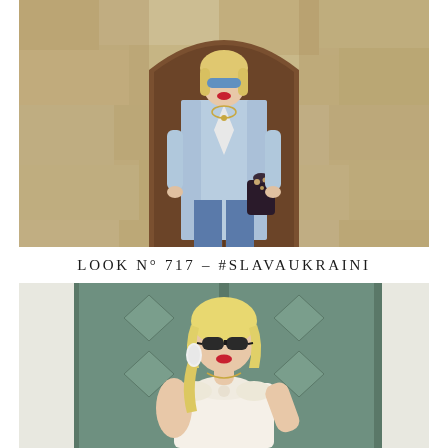[Figure (photo): Blonde woman wearing blue trench coat, white top, embroidered jeans, and blue eye mask, holding a dark embellished bag, standing in front of a large arched wooden door set in a stone wall]
LOOK N° 717 - #SLAVAUKRAINI
[Figure (photo): Blonde woman wearing dark sunglasses, large white earrings, a white strapless bow-front top, and a gold necklace, posing in front of a green painted double door with diamond panel details]